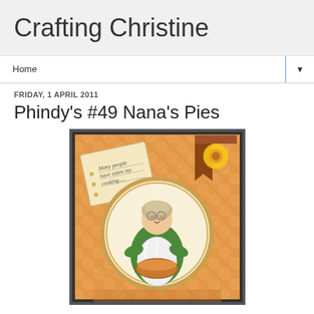Crafting Christine
Home
FRIDAY, 1 APRIL 2011
Phindy's #49 Nana's Pies
[Figure (photo): A handmade craft card featuring an illustration of an elderly woman (Nana) baking pies, set against an orange plaid background. A tilted notepad in the upper left reads 'Many people have eaten my cooking....'. A yellow flower embellishment is in the upper right corner with a brown ribbon. The central illustration shows the Nana figure in a white apron and green top, wearing glasses and a bonnet, holding a steaming pie.]